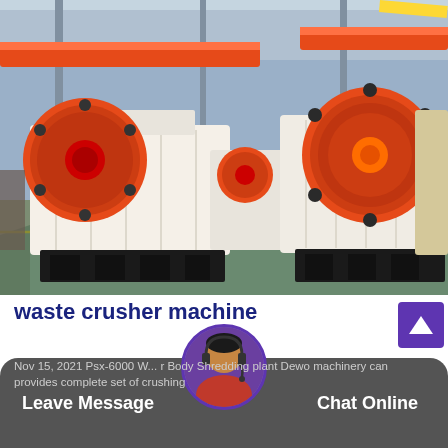[Figure (photo): Industrial factory floor showing two large jaw crusher machines with orange and red flywheel discs, white painted bodies, and black steel bases. The factory has orange overhead crane beams and a concrete floor with green/teal painted section. Another beige/cream colored crusher machine is visible in the background on the right.]
waste crusher machine
Nov 15, 2021 Psx-6000 W... r Body Shredding plant Dewo machinery can provides complete set of crushing
Leave Message
Chat Online